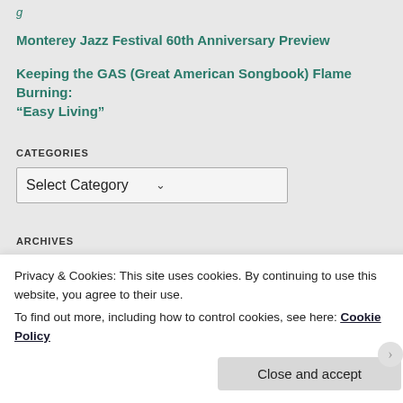Monterey Jazz Festival 60th Anniversary Preview
Keeping the GAS (Great American Songbook) Flame Burning: "Easy Living"
CATEGORIES
Select Category
ARCHIVES
Select Month
Privacy & Cookies: This site uses cookies. By continuing to use this website, you agree to their use.
To find out more, including how to control cookies, see here: Cookie Policy
Close and accept